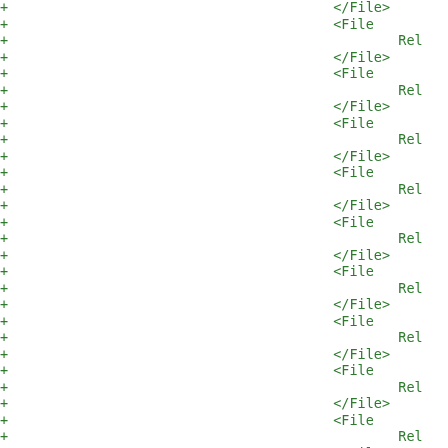Diff output showing added lines with + markers and XML File/Rel elements on the right side